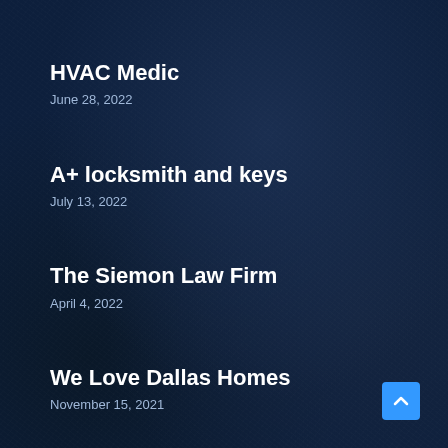HVAC Medic
June 28, 2022
A+ locksmith and keys
July 13, 2022
The Siemon Law Firm
April 4, 2022
We Love Dallas Homes
November 15, 2021
Jordan Tree Service
August 8, 2021
[Figure (other): Blue scroll-to-top button with upward chevron arrow, positioned at bottom right corner]